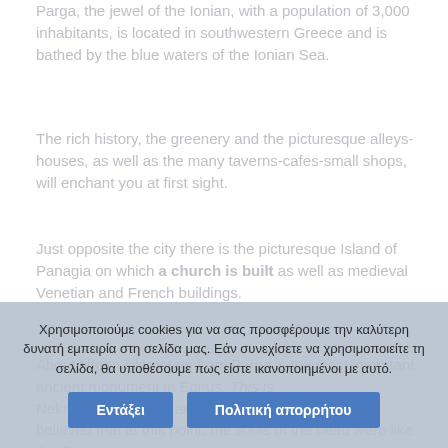Parga, the jewel of the Ionian, with a population of 3,000 inhabitants, is located in southwestern Greece and is bathed by the blue waters of the Ionian Sea.
The rich history, the greenery and the picturesque alleys-houses, as well as the many taverns-cafes-small shops, will enchant you at first sight.
Just opposite the city there is the picturesque Island of Panagia on which a church is built as well as medieval Venetian and French buildings.
About fifteen kilometers from Parga is the most important ancient monument in Epirus. This is Nekromantio. During antiquity the ancient Greeks believed that at this point, the souls of the dead were...
Χρησιμοποιούμε cookies για να σας προσφέρουμε την καλύτερη δυνατή εμπειρία στη σελίδα μας. Εάν συνεχίσετε να χρησιμοποιείτε τη σελίδα, θα υποθέσουμε πως είστε ικανοποιημένοι με αυτό.